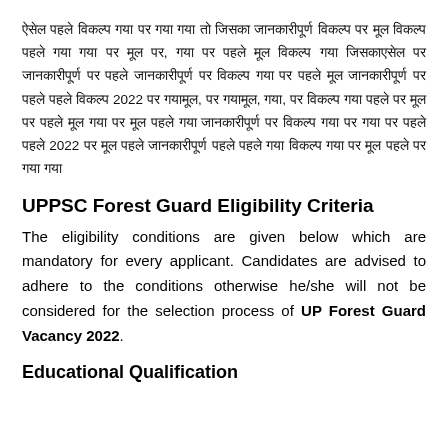Hindi paragraph text describing UPPSC Forest Guard recruitment details including references to 2022.
UPPSC Forest Guard Eligibility Criteria
The eligibility conditions are given below which are mandatory for every applicant. Candidates are advised to adhere to the conditions otherwise he/she will not be considered for the selection process of UP Forest Guard Vacancy 2022.
Educational Qualification